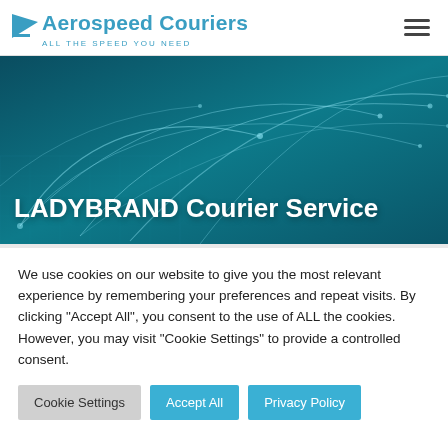[Figure (logo): Aerospeed Couriers logo with blue arrow icon and text 'Aerospeed Couriers' and tagline 'ALL THE SPEED YOU NEED']
[Figure (illustration): Hamburger menu icon (three horizontal lines) in dark grey]
[Figure (photo): Dark teal hero banner with network connection lines overlay representing global connectivity]
LADYBRAND Courier Service
We use cookies on our website to give you the most relevant experience by remembering your preferences and repeat visits. By clicking "Accept All", you consent to the use of ALL the cookies. However, you may visit "Cookie Settings" to provide a controlled consent.
Cookie Settings
Accept All
Privacy Policy